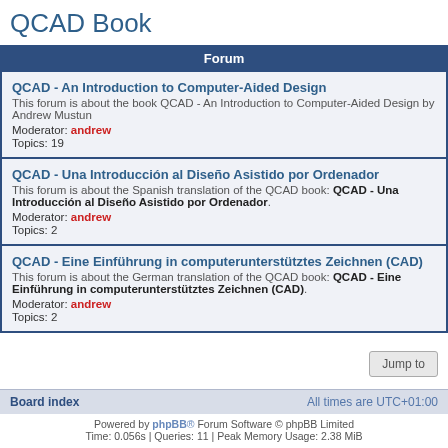QCAD Book
Forum
QCAD - An Introduction to Computer-Aided Design
This forum is about the book QCAD - An Introduction to Computer-Aided Design by Andrew Mustun
Moderator: andrew
Topics: 19
QCAD - Una Introducción al Diseño Asistido por Ordenador
This forum is about the Spanish translation of the QCAD book: QCAD - Una Introducción al Diseño Asistido por Ordenador.
Moderator: andrew
Topics: 2
QCAD - Eine Einführung in computerunterstütztes Zeichnen (CAD)
This forum is about the German translation of the QCAD book: QCAD - Eine Einführung in computerunterstütztes Zeichnen (CAD).
Moderator: andrew
Topics: 2
Jump to
Board index | All times are UTC+01:00
Powered by phpBB® Forum Software © phpBB Limited
Time: 0.056s | Queries: 11 | Peak Memory Usage: 2.38 MiB